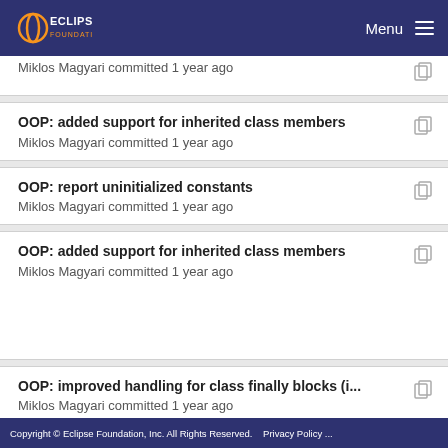Eclipse Foundation  Menu
OOP: added support for inherited class members
Miklos Magyari committed 1 year ago
OOP: report uninitialized constants
Miklos Magyari committed 1 year ago
OOP: added support for inherited class members
Miklos Magyari committed 1 year ago
OOP: improved handling for class finally blocks (i...
Miklos Magyari committed 1 year ago
OOP: 'this' reference improvements (issue #417, i...
Miklos Magyari committed 1 year ago
Copyright © Eclipse Foundation, Inc. All Rights Reserved.   Privacy Policy ...